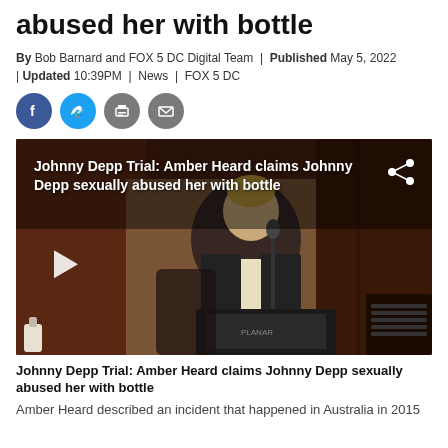abused her with bottle
By Bob Barnard and FOX 5 DC Digital Team | Published May 5, 2022 | Updated 10:39PM | News | FOX 5 DC
[Figure (other): Social media sharing icons: Facebook (blue circle), Twitter (light blue circle), Print (grey circle), Email (grey circle)]
[Figure (photo): Video thumbnail showing Amber Heard testifying at a courtroom podium with a microphone, wearing black jacket and cream blouse. Overlay text reads: Johnny Depp Trial: Amber Heard claims Johnny Depp sexually abused her with bottle. Share icon in top right. Play button on left side.]
Johnny Depp Trial: Amber Heard claims Johnny Depp sexually abused her with bottle
Amber Heard described an incident that happened in Australia in 2015